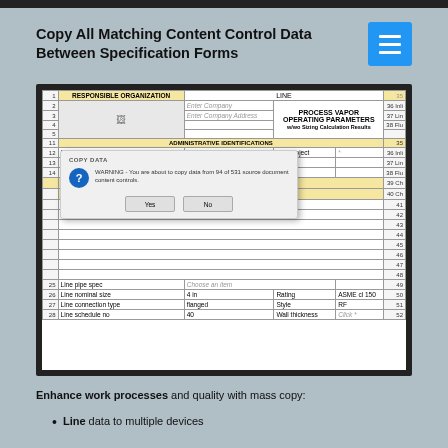Copy All Matching Content Control Data Between Specification Forms
[Figure (screenshot): Screenshot of a specification form with a 'COPY DATA' warning dialog box overlaid, showing rows for administrative identifications, project info, line data. Dialog reads: WARNING - You are about to copy data from 94 of 531 source document content controls. With Yes and No buttons.]
Enhance work processes and quality with mass copy:
Line data to multiple devices